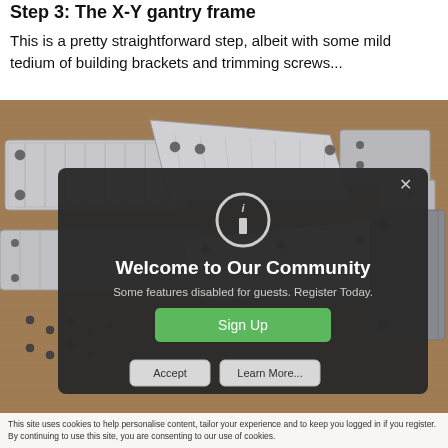Step 3: The X-Y gantry frame
This is a pretty straightforward step, albeit with some mild tedium of building brackets and trimming screws...
[Figure (photo): Photo of metal brackets/plates laid on a wooden surface, likely aluminum CNC gantry brackets with holes drilled in them]
[Figure (screenshot): Welcome to Our Community modal overlay with info icon, Sign Up button, Accept and Learn More buttons, and a cookie consent bar]
This site uses cookies to help personalise content, tailor your experience and to keep you logged in if you register. By continuing to use this site, you are consenting to our use of cookies.